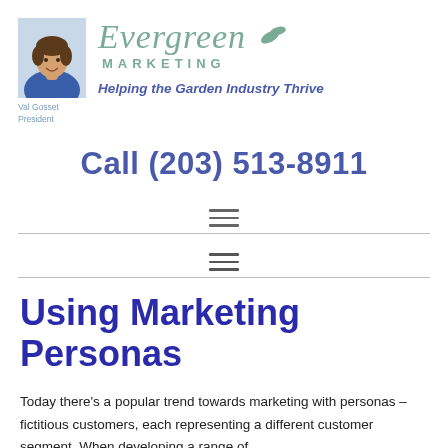[Figure (logo): Evergreen Marketing logo with photo of Val Gosset, President, script wordmark 'Evergreen' with leaf icon, 'MARKETING' subtitle, and tagline 'Helping the Garden Industry Thrive']
Call (203) 513-8911
[Figure (other): Hamburger menu icon (three horizontal lines)]
[Figure (other): Hamburger menu icon (three horizontal lines)]
Using Marketing Personas
Today there's a popular trend towards marketing with personas – fictitious customers, each representing a different customer segment. When developing a range of